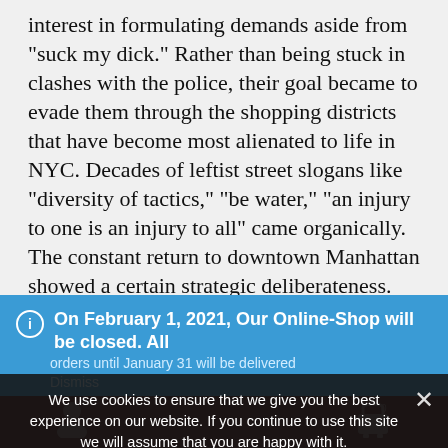interest in formulating demands aside from "suck my dick." Rather than being stuck in clashes with the police, their goal became to evade them through the shopping districts that have become most alienated to life in NYC. Decades of leftist street slogans like "diversity of tactics," "be water," "an injury to one is an injury to all" came organically. The constant return to downtown Manhattan showed a certain strategic deliberateness. Few were willing to defend the luxury stores in that black hole of alienation, and only the politicians fretted about keeping up appearances that Manhattan is a luxury gated-
On February 1, 2021, Our Online-Shop will be closed. All orders until January 31 will be delivered
Dismiss
We use cookies to ensure that we give you the best experience on our website. If you continue to use this site we will assume that you are happy with it.
Ok